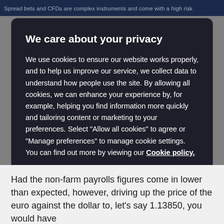Spread bets and CFDs are complex instruments and come with a high risk
We care about your privacy
We use cookies to ensure our website works properly, and to help us improve our service, we collect data to understand how people use the site. By allowing all cookies, we can enhance your experience by, for example, helping you find information more quickly and tailoring content or marketing to your preferences. Select “Allow all cookies” to agree or “Manage preferences” to manage cookie settings. You can find out more by viewing our Cookie policy.
MANAGE PREFERENCES
ALLOW ALL COOKIES
Had the non-farm payrolls figures come in lower than expected, however, driving up the price of the euro against the dollar to, let’s say 1.13850, you would have